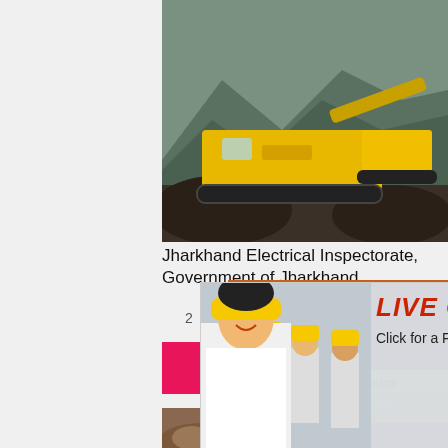[Figure (photo): Yellow mobile crushing/screening machine on a construction/mining site with mountains in background]
Jharkhand Electrical Inspectorate, Government of Jharkhand
2
[Figure (photo): Live Chat popup with woman in white shirt and workers in yellow hard hats in background. Text: LIVE CHAT, Click for a Free Consultation. Buttons: Chat now, Chat later]
[Figure (photo): Side panel showing crusher/mining equipment machines on orange background]
Enjoy 3% discount
Click to Chat
Enquiry
limingjlmofen@sina.com
Read More
[Figure (photo): Excavator working on rocky soil/construction site]